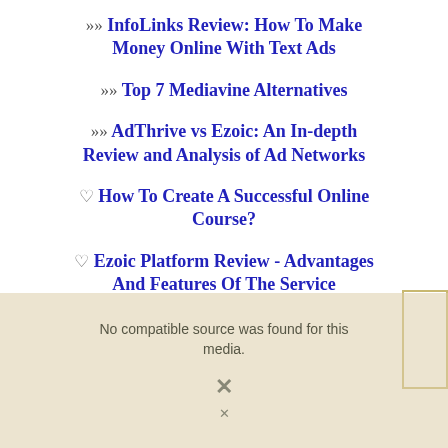>>> InfoLinks Review: How To Make Money Online With Text Ads
>>> Top 7 Mediavine Alternatives
>>> AdThrive vs Ezoic: An In-depth Review and Analysis of Ad Networks
♡ How To Create A Successful Online Course?
♡ Ezoic Platform Review - Advantages And Features Of The Service
No compatible source was found for this media.